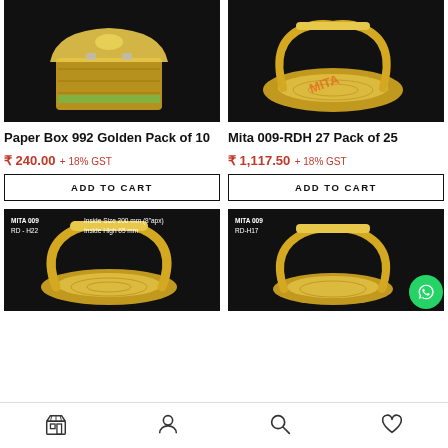[Figure (photo): Paper Box 992 Golden product image on dark background]
[Figure (photo): Mita 009-RDH 27 basket product image with MITA watermark on dark background]
Paper Box 992 Golden Pack of 10
Mita 009-RDH 27 Pack of 25
₹ 240.00 + 18% GST
₹ 1,117.50 + 18% GST
ADD TO CART
ADD TO CART
[Figure (photo): MITA 009 RD-H22 basket product with label: Inside Size 200 mm (8 apx) Inside High 65 mm]
[Figure (photo): MITA 009 RD-H17 basket product on dark background]
Shop | Account | Search | Wishlist